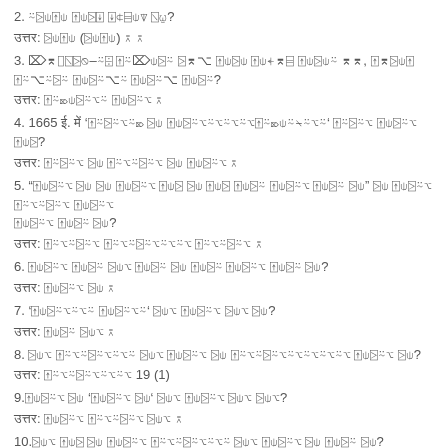2. [question in Hindi script]
उत्तर: [answer in Hindi script]
3. [question in Hindi script]
उत्तर: [answer in Hindi script]
4. 1665 ई. में 'xxxxxxxx xx xxxx' xxxxxx xxxx xxx?
उत्तर: [answer in Hindi script]
5. [question in Hindi script]
उत्तर: [answer in Hindi script]
6. [question in Hindi script]
उत्तर: [answer in Hindi script]
7. [question in Hindi script]
उत्तर: [answer in Hindi script]
8. [question in Hindi script]
उत्तर: धारा 19 (1)
9. [question in Hindi script]
उत्तर: [answer in Hindi script]
10. [question in Hindi script]
उत्तर: 65%.
11. [question in Hindi script]
उत्तर: [answer in Hindi script]
12. [question in Hindi script]
उत्तर: [answer in Hindi script]